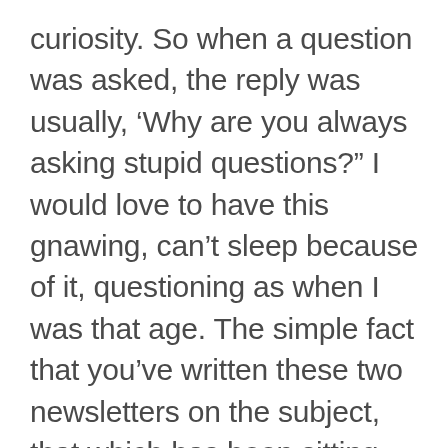curiosity. So when a question was asked, the reply was usually, ‘Why are you always asking stupid questions?” I would love to have this gnawing, can’t sleep because of it, questioning as when I was that age. The simple fact that you’ve written these two newsletters on the subject, that which has been sitting there in the background of my life has been brought forward into full view. Thank you.”